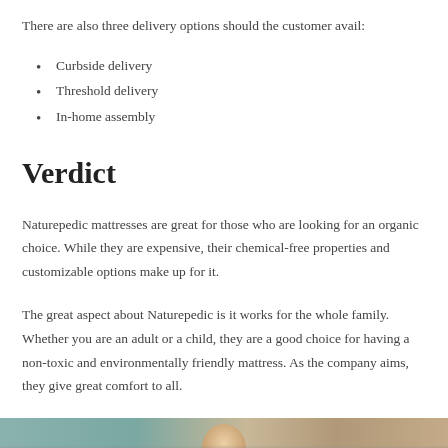There are also three delivery options should the customer avail:
Curbside delivery
Threshold delivery
In-home assembly
Verdict
Naturepedic mattresses are great for those who are looking for an organic choice. While they are expensive, their chemical-free properties and customizable options make up for it.
The great aspect about Naturepedic is it works for the whole family. Whether you are an adult or a child, they are a good choice for having a non-toxic and environmentally friendly mattress. As the company aims, they give great comfort to all.
[Figure (photo): Bottom strip of a photo, partially visible, showing what appears to be a family or person on a mattress/bed in a home setting]